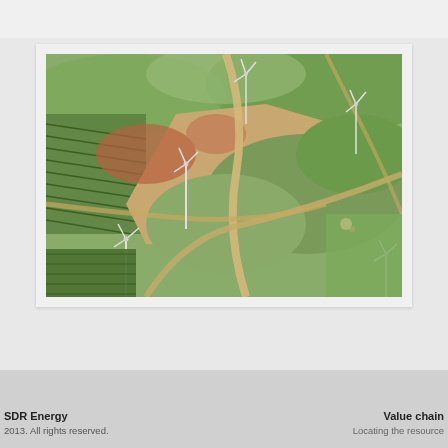[Figure (photo): Aerial photograph of a wind farm under construction on hilly terrain with access roads, wind turbines, olive groves, and green fields visible from above.]
SDR Energy
2013. All rights reserved.
Value chain
Locating the resource